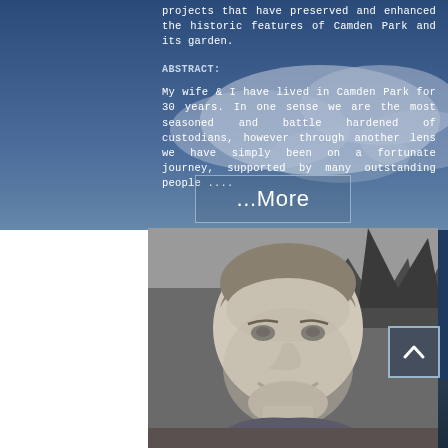projects that have preserved and enhanced the historic features of Camden Park and its garden.
ABSTRACT:
My wife & I have lived in Camden Park for 30 years. In one sense we are the most seasoned and battle hardened of custodians, however through another lens we have simply been on a fortunate journey, supported by many outstanding people ....
...More
[Figure (photo): Black and white portrait photograph of a middle-aged man smiling, outdoors with trees in the background.]